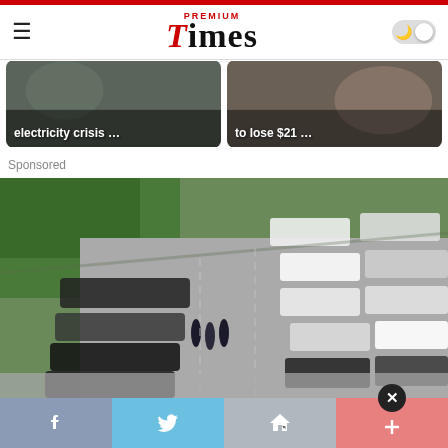Premium Times
[Figure (photo): News card 1: electricity crisis ...]
[Figure (photo): News card 2: to lose $21 ...]
Sponsored
[Figure (photo): Sponsored advertisement image showing a car parking lot aerial view with many parked cars and three people standing in the lot, surrounded by green hedges]
Facebook | Twitter | Home | Close (+)